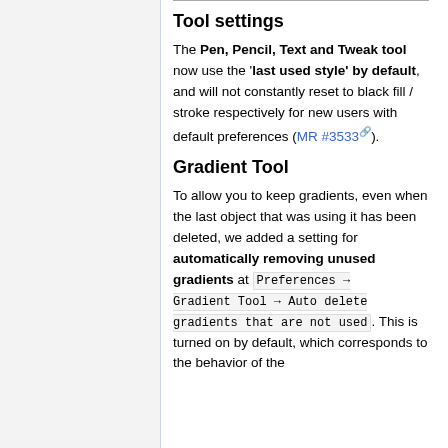Tool settings
The Pen, Pencil, Text and Tweak tool now use the 'last used style' by default, and will not constantly reset to black fill / stroke respectively for new users with default preferences (MR #3533).
Gradient Tool
To allow you to keep gradients, even when the last object that was using it has been deleted, we added a setting for automatically removing unused gradients at Preferences → Gradient Tool → Auto delete gradients that are not used. This is turned on by default, which corresponds to the behavior of the